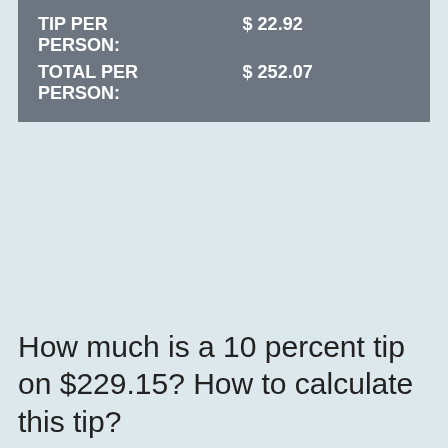|  |  |
| --- | --- |
| TIP PER PERSON: | $ 22.92 |
| TOTAL PER PERSON: | $ 252.07 |
How much is a 10 percent tip on $229.15? How to calculate this tip?